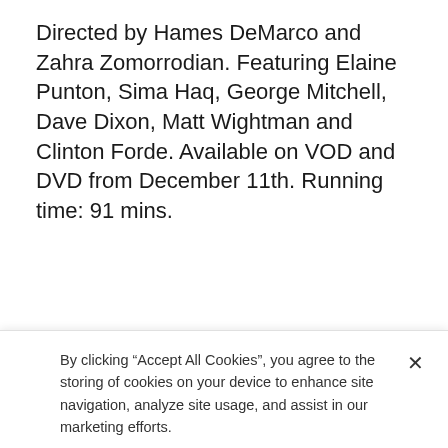Directed by Hames DeMarco and Zahra Zomorrodian. Featuring Elaine Punton, Sima Haq, George Mitchell, Dave Dixon, Matt Wightman and Clinton Forde. Available on VOD and DVD from December 11th. Running time: 91 mins.
D...Mi...
By clicking “Accept All Cookies”, you agree to the storing of cookies on your device to enhance site navigation, analyze site usage, and assist in our marketing efforts.